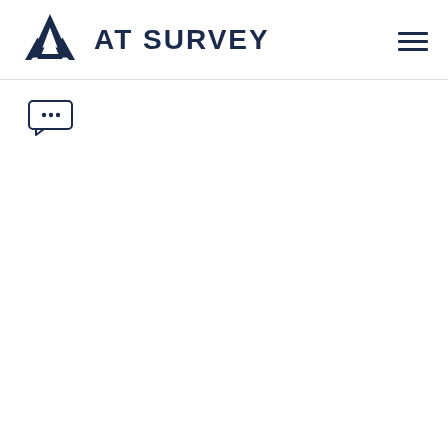[Figure (logo): AT Survey logo with stylized A icon and bold text 'AT SURVEY' in dark navy blue, with hamburger menu icon on the right]
[Figure (illustration): Small chat bubble icon with three dots (ellipsis), outlined in dark navy, positioned below the header]